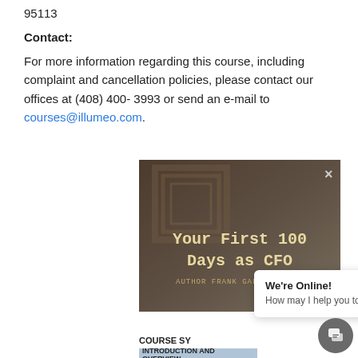95113
Contact:
For more information regarding this course, including complaint and cancellation policies, please contact our offices at (408) 400- 3993 or send an e-mail to courses@illumeo.com.
[Figure (screenshot): Video thumbnail showing book cover 'Your First 100 Days as CFO' with dark overlay and close button, plus a COURSE OVERVIEW / CPE bar at the bottom]
COURSE SY...
INTRODUCTION AND OVERVIEW
We're Online!
How may I help you today?